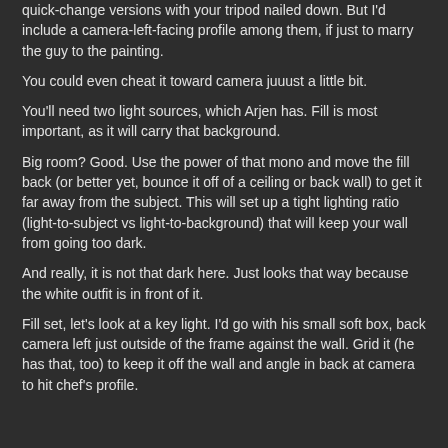quick-change versions with your tripod nailed down. But I'd include a camera-left-facing profile among them, if just to marry the guy to the painting.
You could even cheat it toward camera juuust a little bit.
You'll need two light sources, which Arjen has. Fill is most important, as it will carry that background.
Big room? Good. Use the power of that mono and move the fill back (or better yet, bounce it off of a ceiling or back wall) to get it far away from the subject. This will set up a tight lighting ratio (light-to-subject vs light-to-background) that will keep your wall from going too dark.
And really, it is not that dark here. Just looks that way because the white outfit is in front of it.
Fill set, let's look at a key light. I'd go with his small soft box, back camera left just outside of the frame against the wall. Grid it (he has that, too) to keep it off the wall and angle in back at camera to hit chef's profile.